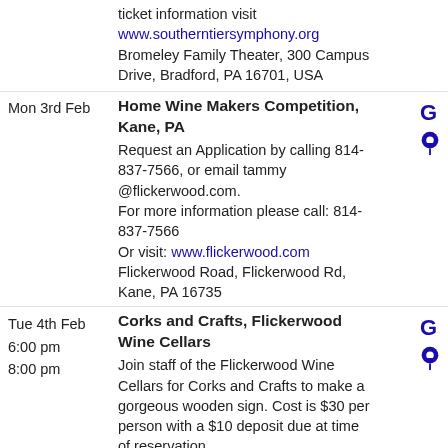ticket information visit www.southerntiersymphony.org Bromeley Family Theater, 300 Campus Drive, Bradford, PA 16701, USA
Mon 3rd Feb – Home Wine Makers Competition, Kane, PA. Request an Application by calling 814-837-7566, or email tammy @flickerwood.com. For more information please call: 814-837-7566. Or visit: www.flickerwood.com. Flickerwood Road, Flickerwood Rd, Kane, PA 16735
Tue 4th Feb 6:00 pm 8:00 pm – Corks and Crafts, Flickerwood Wine Cellars. Join staff of the Flickerwood Wine Cellars for Corks and Crafts to make a gorgeous wooden sign. Cost is $30 per person with a $10 deposit due at time of reservation. Call (814) 837-7566 to make your reservation. For more information visit www.flickerwood.com/